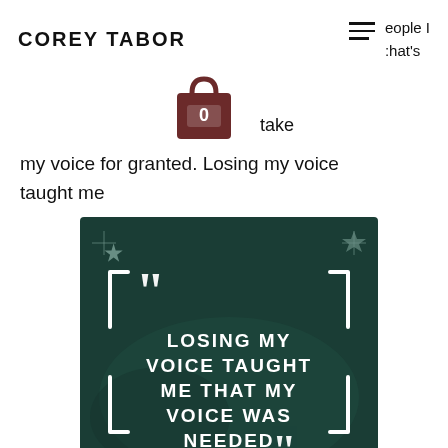COREY TABOR
eople I that's
[Figure (illustration): Shopping bag icon with the number 0, dark brown color]
take my voice for granted. Losing my voice taught me
[Figure (illustration): Dark teal/green background quote card with bracket decorations and sparkle icons. Text reads: LOSING MY VOICE TAUGHT ME THAT MY VOICE WAS NEEDED]